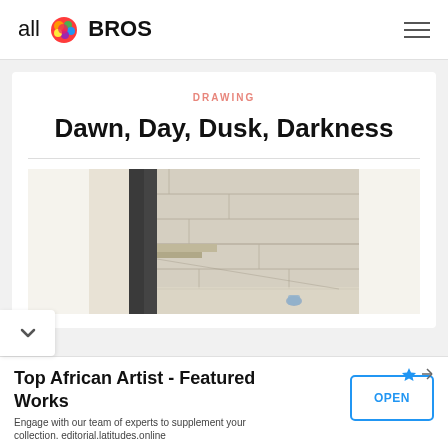all BROS
DRAWING
Dawn, Day, Dusk, Darkness
[Figure (photo): Architectural sketch/drawing showing a stone building facade with a dark vertical element (pillar or door), stonework walls, and a figure in blue at the bottom right. The drawing has a loose, watercolor-like quality.]
Top African Artist - Featured Works
Engage with our team of experts to supplement your collection. editorial.latitudes.online